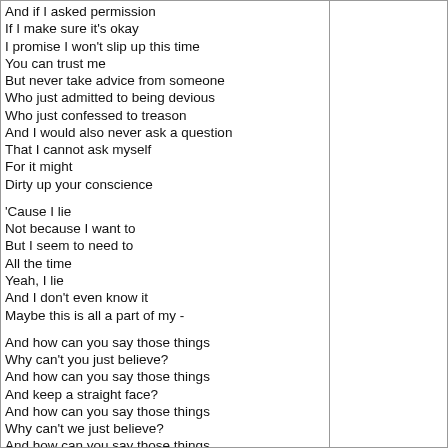And if I asked permission
If I make sure it's okay
I promise I won't slip up this time
You can trust me
But never take advice from someone
Who just admitted to being devious
Who just confessed to treason
And I would also never ask a question
That I cannot ask myself
For it might
Dirty up your conscience

'Cause I lie
Not because I want to
But I seem to need to
All the time
Yeah, I lie
And I don't even know it
Maybe this is all a part of my -

And how can you say those things
Why can't you just believe?
And how can you say those things
And keep a straight face?
And how can you say those things
Why can't we just believe?
And how can you say those things
And keep a straight face?